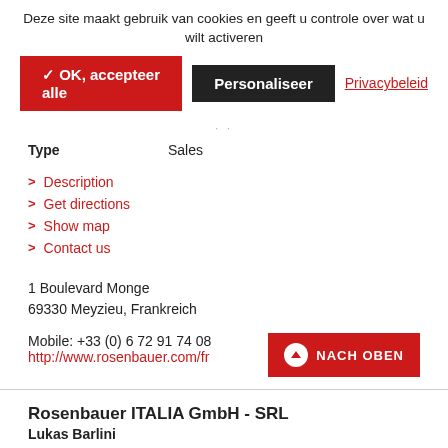Deze site maakt gebruik van cookies en geeft u controle over wat u wilt activeren
✓ OK, accepteer alle   Personaliseer   Privacybeleid
Type    Sales
> Description
> Get directions
> Show map
> Contact us
1 Boulevard Monge
69330 Meyzieu, Frankreich
Mobile: +33 (0) 6 72 91 74 08
http://www.rosenbauer.com/fr
Rosenbauer ITALIA GmbH - SRL
Lukas Barlini
Type    Sales